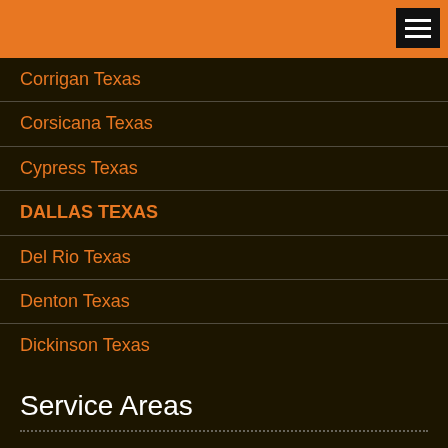Corrigan Texas
Corsicana Texas
Cypress Texas
DALLAS TEXAS
Del Rio Texas
Denton Texas
Dickinson Texas
Service Areas
EL PASO TEXAS
FT WORTH TEXAS
Friendswood Texas